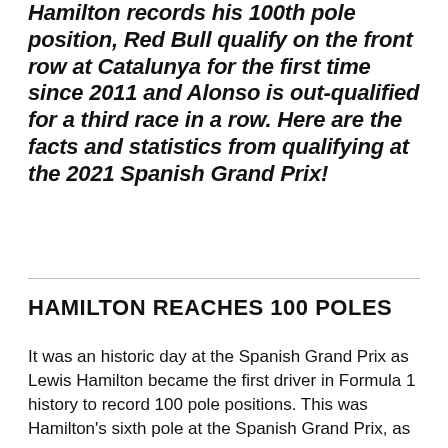Hamilton records his 100th pole position, Red Bull qualify on the front row at Catalunya for the first time since 2011 and Alonso is out-qualified for a third race in a row. Here are the facts and statistics from qualifying at the 2021 Spanish Grand Prix!
HAMILTON REACHES 100 POLES
It was an historic day at the Spanish Grand Prix as Lewis Hamilton became the first driver in Formula 1 history to record 100 pole positions. This was Hamilton's sixth pole at the Spanish Grand Prix, as